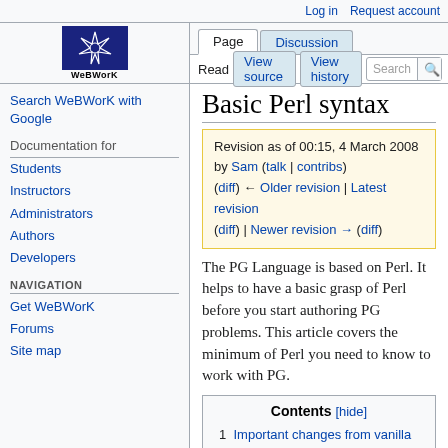Log in  Request account
[Figure (logo): WeBWorK logo — dark blue box with star/web graphic, text 'WeBWorK' below]
Page  Discussion  Read  View source  View history  Search
Basic Perl syntax
Revision as of 00:15, 4 March 2008 by Sam (talk | contribs) (diff) ← Older revision | Latest revision (diff) | Newer revision → (diff)
Search WeBWorK with Google
Documentation for
Students
Instructors
Administrators
Authors
Developers
NAVIGATION
Get WeBWorK
Forums
Site map
The PG Language is based on Perl. It helps to have a basic grasp of Perl before you start authoring PG problems. This article covers the minimum of Perl you need to know to work with PG.
Contents [hide]
1 Important changes from vanilla Perl
2 Perl Syntax Overview
  2.1 Statements